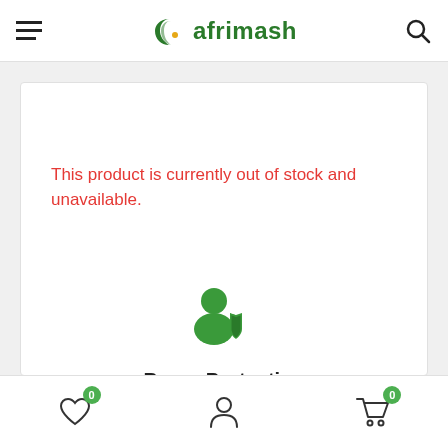afrimash
This product is currently out of stock and unavailable.
[Figure (illustration): Buyer protection icon: person silhouette with a shield overlay, in green]
Buyer Protection
Make safe and reliable transaction with us
[Figure (illustration): Green shield with white checkmark icon]
Wishlist (0) | Account | Cart (0)